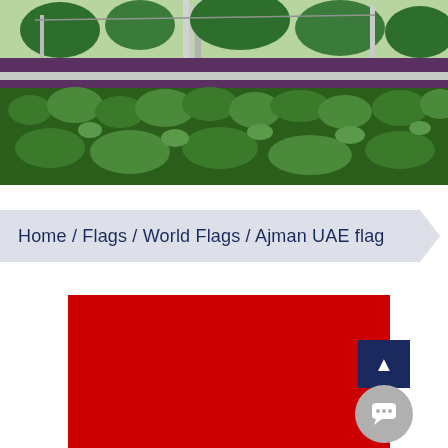[Figure (photo): Outdoor garden/park scene with neatly trimmed green hedges and bushes in the foreground, trees and metal structures visible in the background, bright daylight.]
Home / Flags / World Flags / Ajman UAE flag
[Figure (illustration): Red rectangular flag of Ajman UAE, partially visible, solid red color filling the frame.]